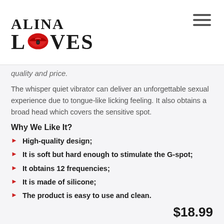ALINA LOVES
quality and price.
The whisper quiet vibrator can deliver an unforgettable sexual experience due to tongue-like licking feeling. It also obtains a broad head which covers the sensitive spot.
Why We Like It?
High-quality design;
It is soft but hard enough to stimulate the G-spot;
It obtains 12 frequencies;
It is made of silicone;
The product is easy to use and clean.
$18.99